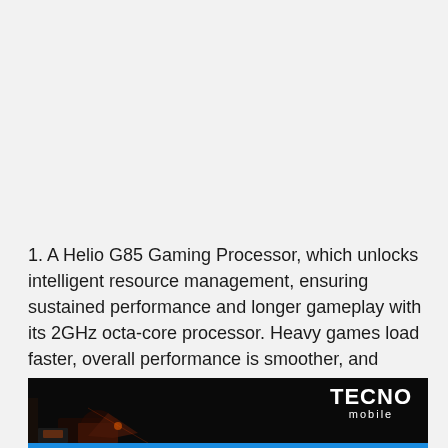1. A Helio G85 Gaming Processor, which unlocks intelligent resource management, ensuring sustained performance and longer gameplay with its 2GHz octa-core processor. Heavy games load faster, overall performance is smoother, and power efficiency is maintained to deliver uninterrupted game play.
[Figure (photo): Dark banner image with TECNO mobile logo on the right side in white text, and a gaming scene visible at the bottom left.]